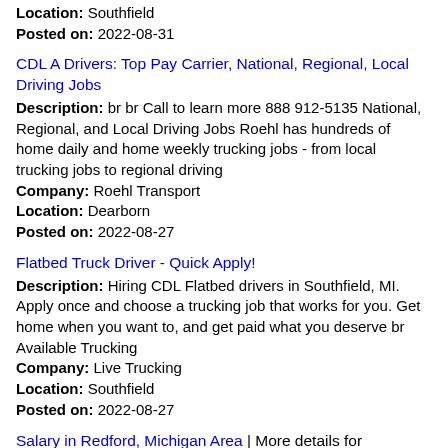Location: Southfield
Posted on: 2022-08-31
CDL A Drivers: Top Pay Carrier, National, Regional, Local Driving Jobs
Description: br br Call to learn more 888 912-5135 National, Regional, and Local Driving Jobs Roehl has hundreds of home daily and home weekly trucking jobs - from local trucking jobs to regional driving
Company: Roehl Transport
Location: Dearborn
Posted on: 2022-08-27
Flatbed Truck Driver - Quick Apply!
Description: Hiring CDL Flatbed drivers in Southfield, MI. Apply once and choose a trucking job that works for you. Get home when you want to, and get paid what you deserve br Available Trucking
Company: Live Trucking
Location: Southfield
Posted on: 2022-08-27
Salary in Redford, Michigan Area | More details for Redford, Michigan Jobs |Salary
Hiring Flatbed CDL-A Drivers in Dearborn, MI
Description: Hiring CDL Flatbed drivers in Dearborn, MI. Apply